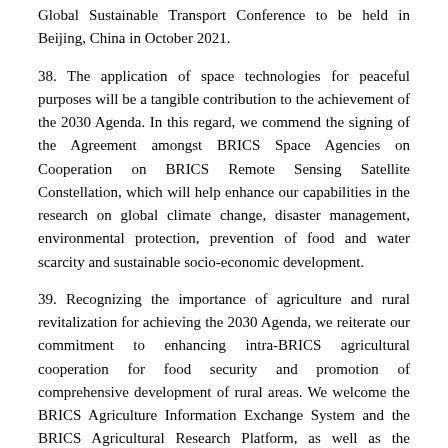Global Sustainable Transport Conference to be held in Beijing, China in October 2021.
38. The application of space technologies for peaceful purposes will be a tangible contribution to the achievement of the 2030 Agenda. In this regard, we commend the signing of the Agreement amongst BRICS Space Agencies on Cooperation on BRICS Remote Sensing Satellite Constellation, which will help enhance our capabilities in the research on global climate change, disaster management, environmental protection, prevention of food and water scarcity and sustainable socio-economic development.
39. Recognizing the importance of agriculture and rural revitalization for achieving the 2030 Agenda, we reiterate our commitment to enhancing intra-BRICS agricultural cooperation for food security and promotion of comprehensive development of rural areas. We welcome the BRICS Agriculture Information Exchange System and the BRICS Agricultural Research Platform, as well as the adoption of the Action Plan 2021-2024 for Agricultural Cooperation of BRICS Countries.
40. We appreciate the importance of BRICS Science, Technology and Innovation (STI) Cooperation in bringing together our researchers to tackle new and emerging challenges and acknowledge the progress achieved by the BRICS STI Steering Committee and joint research